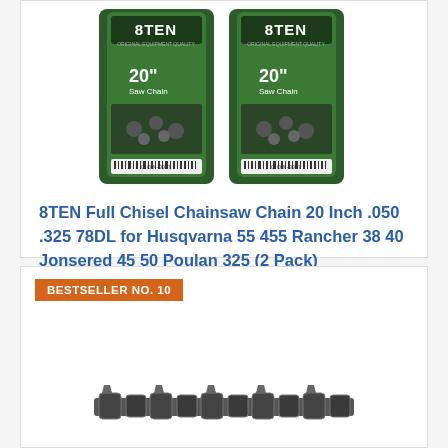[Figure (photo): Two 8TEN brand chainsaw chain packages (20 inch, C-CCN-0067) shown side by side on green packaging.]
8TEN Full Chisel Chainsaw Chain 20 Inch .050 .325 78DL for Husqvarna 55 455 Rancher 38 40 Jonsered 45 50 Poulan 325 (2 Pack)
$34.95
Buy on Amazon
BESTSELLER NO. 10
[Figure (photo): Chainsaw chain links shown partially at bottom of page.]